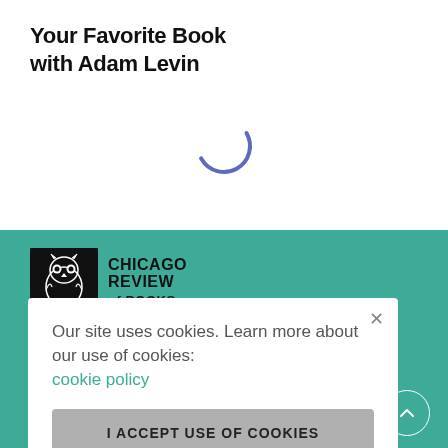Your Favorite Book with Adam Levin
[Figure (other): Loading spinner — a partial arc/circle in blue-purple, indicating content is loading]
[Figure (logo): Chicago Review of Books logo — owl illustration in black square with text CHICAGO REVIEW of BOOKS]
Our site uses cookies. Learn more about our use of cookies: cookie policy
I ACCEPT USE OF COOKIES